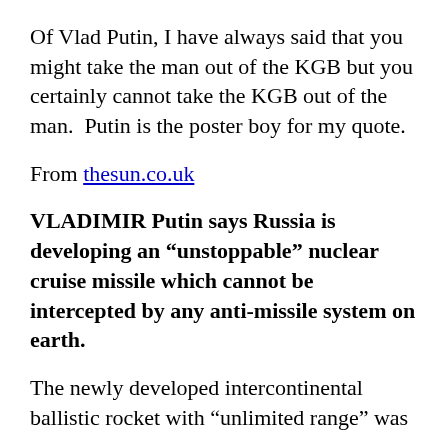Of Vlad Putin, I have always said that you might take the man out of the KGB but you certainly cannot take the KGB out of the man. Putin is the poster boy for my quote.
From thesun.co.uk
VLADIMIR Putin says Russia is developing an “unstoppable” nuclear cruise missile which cannot be intercepted by any anti-missile system on earth.
The newly developed intercontinental ballistic rocket with “unlimited range” was